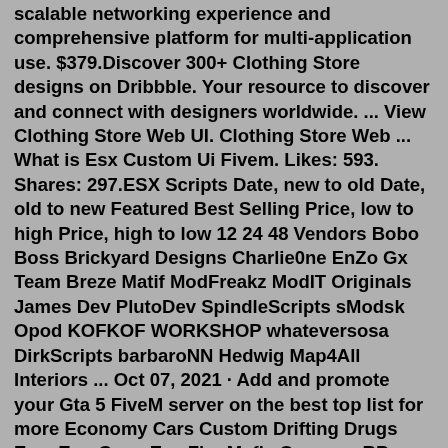scalable networking experience and comprehensive platform for multi-application use. $379.Discover 300+ Clothing Store designs on Dribbble. Your resource to discover and connect with designers worldwide. ... View Clothing Store Web UI. Clothing Store Web ... What is Esx Custom Ui Fivem. Likes: 593. Shares: 297.ESX Scripts Date, new to old Date, old to new Featured Best Selling Price, low to high Price, high to low 12 24 48 Vendors Bobo Boss Brickyard Designs Charlie0ne EnZo Gx Team Breze Matif ModFreakz ModIT Originals James Dev PlutoDev SpindleScripts sModsk Opod KOFKOF WORKSHOP whateversosa DirkScripts barbaroNN Hedwig Map4All Interiors ... Oct 07, 2021 · Add and promote your Gta 5 FiveM server on the best top list for more Economy Cars Custom Drifting Drugs Ems Eup Cops Esx Fire Mafia Onesync RP Serious Whitelist. css) then make changes to (Lines 9 & 10 to Change Position on Screen) 2nd Step To change the Voice Settings go to (esx_customui\client. Views: 5 330 [ESX] Job for admins - go on duty as an admin forum